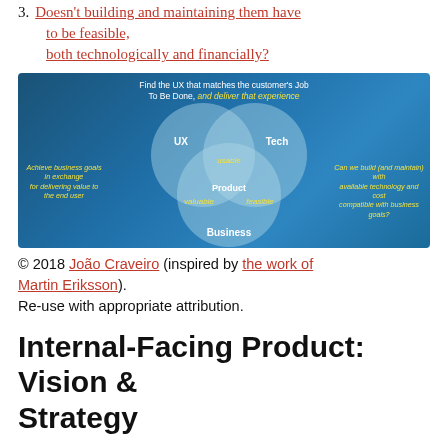3. Doesn't building and maintaining them have to be feasible, both technologically and financially?
[Figure (infographic): Venn diagram showing three overlapping circles labeled UX, Tech, and Business, with Product at the center. Intersection labels: usable (UX+Tech), valuable (Business+UX), feasible (Tech+Business). Top text: 'Find the UX that matches the customer's Job To Be Done, and deliver that experience'. Left text: 'Achieve business goals in exchange for delivering value to the end user'. Right text: 'Can we build (and maintain) with available technology and cost compatible with business goals?']
© 2018 João Craveiro (inspired by the work of Martin Eriksson). Re-use with appropriate attribution.
Internal-Facing Product: Vision & Strategy
So if we have an existing (or potential) internal-facing product, we must frame its role by having a clear vision and strategy for it. But we can't be